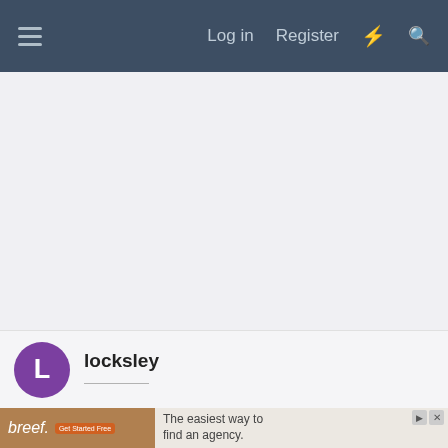≡   Log in   Register   ⚡   🔍
[Figure (screenshot): Large white/light gray blank content area, likely an advertisement or image placeholder]
locksley
[Figure (photo): Advertisement banner: left side shows 'breef.' with 'Get Started Free' badge on brownish background with hands image; right side shows 'The easiest way to find an agency.' text with close/play controls]